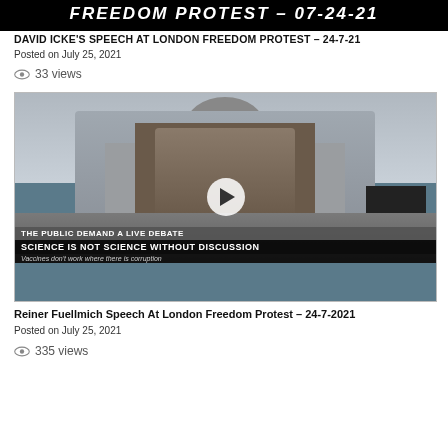FREEDOM PROTEST – 07-24-21
DAVID ICKE'S SPEECH AT LONDON FREEDOM PROTEST – 24-7-21
Posted on July 25, 2021
👁 33 views
[Figure (photo): Video thumbnail showing a large outdoor screen at Trafalgar Square displaying a man's face, with crowd gathered below and banners reading 'THE PUBLIC DEMAND A LIVE DEBATE' and 'SCIENCE IS NOT SCIENCE WITHOUT DISCUSSION' and 'Vaccines don't work where there is corruption'. A play button overlay is visible in the center.]
Reiner Fuellmich Speech At London Freedom Protest – 24-7-2021
Posted on July 25, 2021
👁 335 views